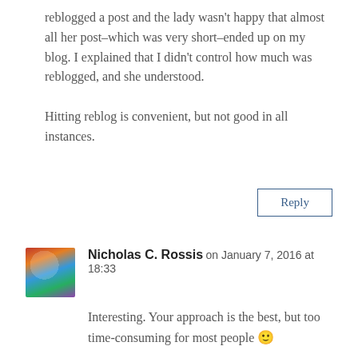reblogged a post and the lady wasn't happy that almost all her post–which was very short–ended up on my blog. I explained that I didn't control how much was reblogged, and she understood.

Hitting reblog is convenient, but not good in all instances.
Reply
Nicholas C. Rossis on January 7, 2016 at 18:33
Interesting. Your approach is the best, but too time-consuming for most people 🙂